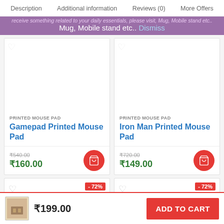Description  Additional information  Reviews (0)  More Offers
Mug, Mobile stand etc..  Dismiss
[Figure (other): Product card: Gamepad Printed Mouse Pad, category PRINTED MOUSE PAD, original price ₹540.00, sale price ₹160.00, add to cart button]
[Figure (other): Product card: Iron Man Printed Mouse Pad, category PRINTED MOUSE PAD, original price ₹720.00, sale price ₹149.00, add to cart button]
[Figure (other): Product card partial: -72% discount badge, heart icon]
[Figure (other): Product card partial: -72% discount badge, heart icon]
₹199.00  ADD TO CART